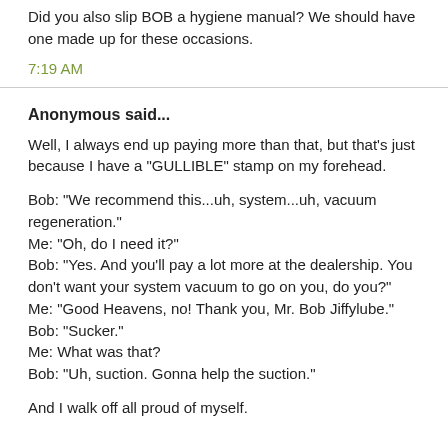Did you also slip BOB a hygiene manual? We should have one made up for these occasions.
7:19 AM
Anonymous said...
Well, I always end up paying more than that, but that's just because I have a "GULLIBLE" stamp on my forehead.
Bob: "We recommend this...uh, system...uh, vacuum regeneration."
Me: "Oh, do I need it?"
Bob: "Yes. And you'll pay a lot more at the dealership. You don't want your system vacuum to go on you, do you?"
Me: "Good Heavens, no! Thank you, Mr. Bob Jiffylube."
Bob: "Sucker."
Me: What was that?
Bob: "Uh, suction. Gonna help the suction."
And I walk off all proud of myself.